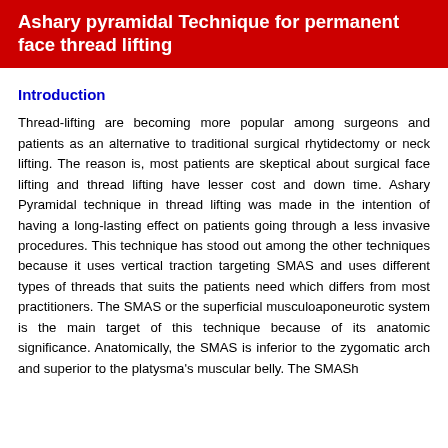Ashary pyramidal Technique for permanent face thread lifting
Introduction
Thread-lifting are becoming more popular among surgeons and patients as an alternative to traditional surgical rhytidectomy or neck lifting. The reason is, most patients are skeptical about surgical face lifting and thread lifting have lesser cost and down time. Ashary Pyramidal technique in thread lifting was made in the intention of having a long-lasting effect on patients going through a less invasive procedures. This technique has stood out among the other techniques because it uses vertical traction targeting SMAS and uses different types of threads that suits the patients need which differs from most practitioners. The SMAS or the superficial musculoaponeurotic system is the main target of this technique because of its anatomic significance. Anatomically, the SMAS is inferior to the zygomatic arch and superior to the platysma's muscular belly. The SMASh